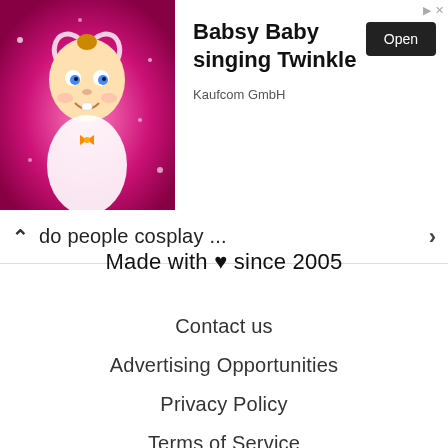[Figure (screenshot): Advertisement banner for 'Babsy Baby singing Twinkle' app by Kaufcom GmbH, showing a cartoon baby with pink background, an Open button, and ad corner icons.]
do people cosplay ...
Made with ♥ since 2005
Contact us
Advertising Opportunities
Privacy Policy
Terms of Service